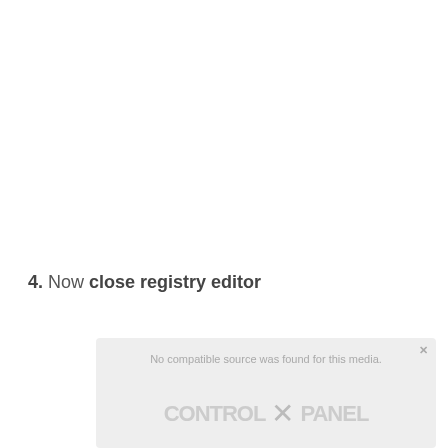4. Now close registry editor
[Figure (screenshot): Video player placeholder showing 'No compatible source was found for this media.' message with control panel UI elements and an X icon overlay]